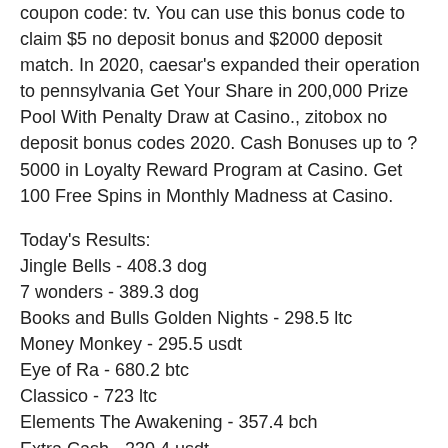coupon code: tv. You can use this bonus code to claim $5 no deposit bonus and $2000 deposit match. In 2020, caesar's expanded their operation to pennsylvania Get Your Share in 200,000 Prize Pool With Penalty Draw at Casino., zitobox no deposit bonus codes 2020. Cash Bonuses up to ? 5000 in Loyalty Reward Program at Casino. Get 100 Free Spins in Monthly Madness at Casino.
Today's Results:
Jingle Bells - 408.3 dog
7 wonders - 389.3 dog
Books and Bulls Golden Nights - 298.5 ltc
Money Monkey - 295.5 usdt
Eye of Ra - 680.2 btc
Classico - 723 ltc
Elements The Awakening - 357.4 bch
Extra Cash - 230.4 usdt
Rising Sun - 461.2 bch
Greedy Goblins - 508.1 eth